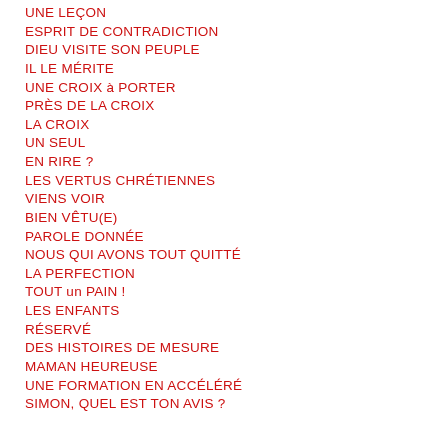UNE LEÇON
ESPRIT DE CONTRADICTION
DIEU VISITE SON PEUPLE
IL LE MÉRITE
UNE CROIX à PORTER
PRÈS DE LA CROIX
LA CROIX
UN SEUL
EN RIRE ?
LES VERTUS CHRÉTIENNES
VIENS VOIR
BIEN VÊTU(E)
PAROLE DONNÉE
NOUS QUI AVONS TOUT QUITTÉ
LA PERFECTION
TOUT un PAIN !
LES ENFANTS
RÉSERVÉ
DES HISTOIRES DE MESURE
MAMAN HEUREUSE
UNE FORMATION EN ACCÉLÉRÉ
SIMON, QUEL EST TON AVIS ?